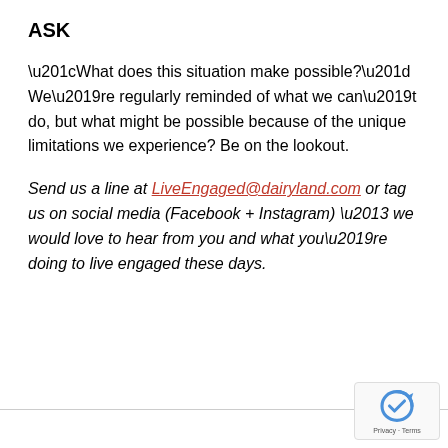ASK
“What does this situation make possible?” We’re regularly reminded of what we can’t do, but what might be possible because of the unique limitations we experience? Be on the lookout.
Send us a line at LiveEngaged@dairyland.com or tag us on social media (Facebook + Instagram) – we would love to hear from you and what you’re doing to live engaged these days.